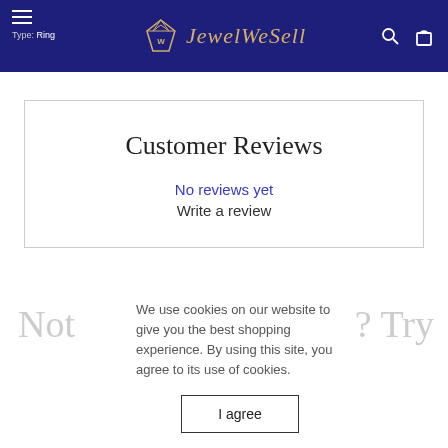JewelWeSell — Type: Ring
Customer Reviews
No reviews yet
Write a review
Not the product you found? Try replacing the product instead.
We use cookies on our website to give you the best shopping experience. By using this site, you agree to its use of cookies.
I agree